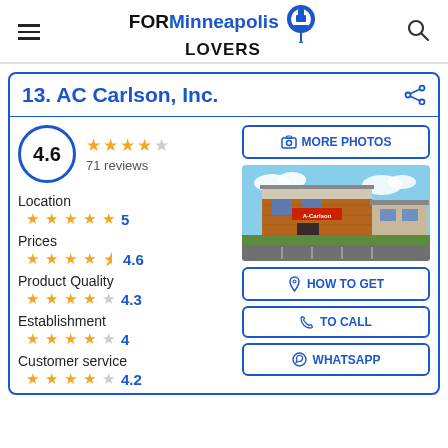[Figure (logo): FORMinneapolis LOVERS logo with map pin icon]
13. AC Carlson, Inc.
4.6 — 71 reviews
Location ★★★★★ 5
Prices ★★★★½ 4.6
Product Quality ★★★★½ 4.3
Establishment ★★★★☆ 4
Customer service ★★★★☆ 4.2
[Figure (photo): Exterior photo of AC Carlson, Inc. store building]
MORE PHOTOS
HOW TO GET
TO CALL
WHATSAPP